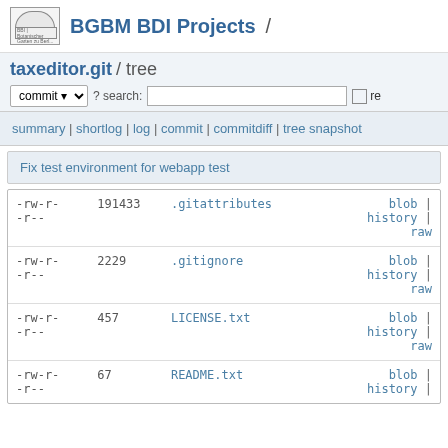BGBM BDI Projects /
taxeditor.git / tree
commit ? search: re
summary | shortlog | log | commit | commitdiff | tree snapshot
Fix test environment for webapp test
| permissions | size | filename | actions |
| --- | --- | --- | --- |
| -rw-r--r-- | 191433 | .gitattributes | blob | history | raw |
| -rw-r--r-- | 2229 | .gitignore | blob | history | raw |
| -rw-r--r-- | 457 | LICENSE.txt | blob | history | raw |
| -rw-r--r-- | 67 | README.txt | blob | history | |